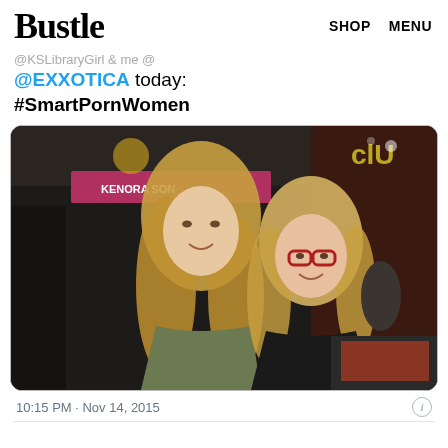Bustle   SHOP   MENU
@KSLibraryGirl & me @
@EXXOTICA today:
#SmartPornWomen
[Figure (photo): Two blonde women posing together at an expo/convention booth. The left woman has long straight blonde hair and wears an olive green shirt. The right woman has curly blonde hair and wears red cat-eye glasses and a black outfit. A sign reading 'KENORA SON' is visible in the background along with expo booth displays.]
10:15 PM · Nov 14, 2015